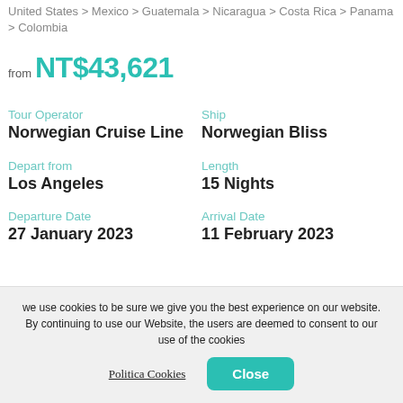United States > Mexico > Guatemala > Nicaragua > Costa Rica > Panama > Colombia
from NT$43,621
Tour Operator
Norwegian Cruise Line
Ship
Norwegian Bliss
Depart from
Los Angeles
Length
15 Nights
Departure Date
27 January 2023
Arrival Date
11 February 2023
Details
we use cookies to be sure we give you the best experience on our website. By continuing to use our Website, the users are deemed to consent to our use of the cookies
Politica Cookies
Close